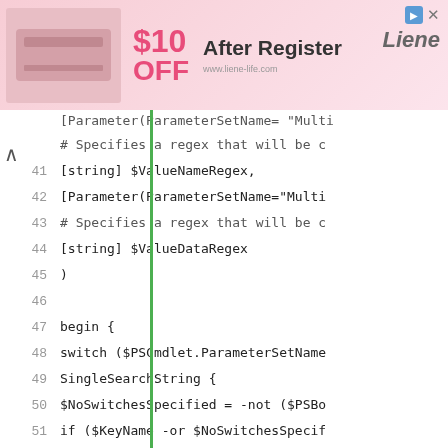[Figure (other): Advertisement banner: Liene brand, $10 OFF After Register, www.liene-life.com]
[Parameter(ParameterSetName= "Mult
# Specifies a regex that will be c
41  [string] $ValueNameRegex,
42  [Parameter(ParameterSetName="Multi
43  # Specifies a regex that will be c
44  [string] $ValueDataRegex
45  )
46
47  begin {
48  switch ($PSCmdlet.ParameterSetName
49  SingleSearchString {
50  $NoSwitchesSpecified = -not ($PSBo
51  if ($KeyName -or $NoSwitchesSpecif
52  if ($ValueName -or $NoSwitchesSpec
53  if ($ValueData -or $NoSwitchesSpec
54  }
55  MultipleSearchStrings {
56  # No extra work needed
57  }
58  }
59  }